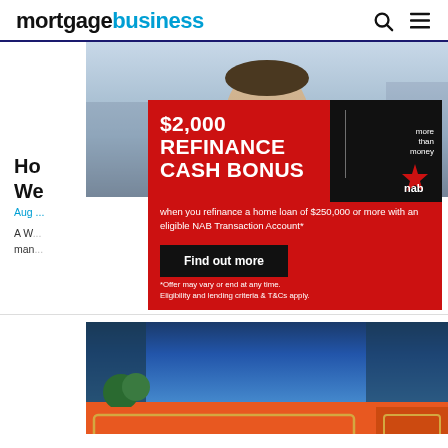mortgagebusiness
[Figure (photo): Partial view of a man in a suit, cropped at mid-face showing a smile]
Ho... We...
[Figure (infographic): NAB bank advertisement: $2,000 REFINANCE CASH BONUS - when you refinance a home loan of $250,000 or more with an eligible NAB Transaction Account*. Find out more. *Offer may vary or end at any time. Eligibility and lending criteria & T&Cs apply. NAB more than money logo.]
Aug ...
A W... man...
[Figure (photo): Bankwest bank branch sign - orange background with 'bankwest' text and decorative logo]